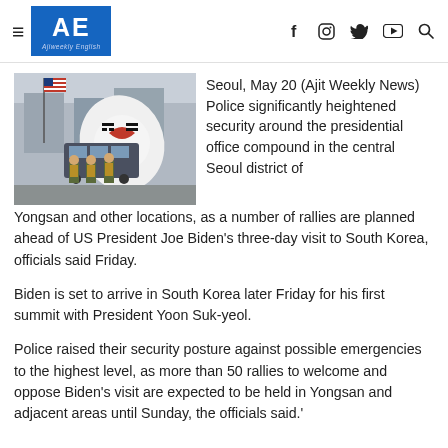AE Ajiweekly English
[Figure (photo): Police officers in high-visibility vests standing near a bus, with US and South Korean flags visible in the foreground.]
Seoul, May 20 (Ajit Weekly News) Police significantly heightened security around the presidential office compound in the central Seoul district of Yongsan and other locations, as a number of rallies are planned ahead of US President Joe Biden's three-day visit to South Korea, officials said Friday.
Biden is set to arrive in South Korea later Friday for his first summit with President Yoon Suk-yeol.
Police raised their security posture against possible emergencies to the highest level, as more than 50 rallies to welcome and oppose Biden's visit are expected to be held in Yongsan and adjacent areas until Sunday, the officials said.'